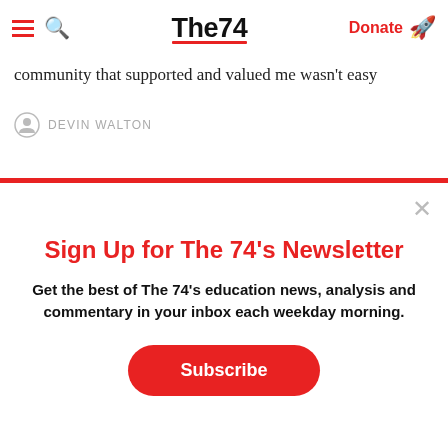The74 | Donate
community that supported and valued me wasn't easy
DEVIN WALTON
Sign Up for The 74's Newsletter
Get the best of The 74's education news, analysis and commentary in your inbox each weekday morning.
Subscribe